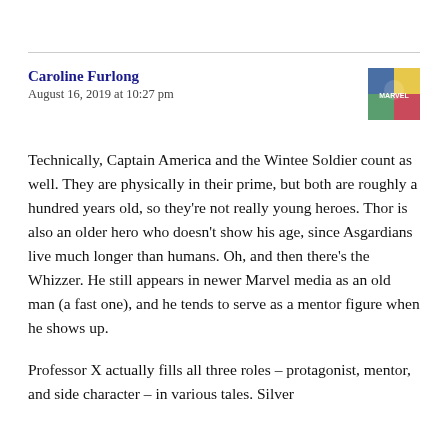Caroline Furlong
August 16, 2019 at 10:27 pm
[Figure (photo): Small avatar/thumbnail image of a comic book or illustrated cover art in the top right corner]
Technically, Captain America and the Wintee Soldier count as well. They are physically in their prime, but both are roughly a hundred years old, so they're not really young heroes. Thor is also an older hero who doesn't show his age, since Asgardians live much longer than humans. Oh, and then there's the Whizzer. He still appears in newer Marvel media as an old man (a fast one), and he tends to serve as a mentor figure when he shows up.
Professor X actually fills all three roles – protagonist, mentor, and side character – in various tales. Silver